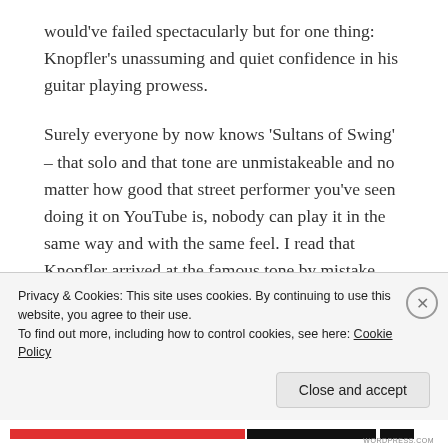would've failed spectacularly but for one thing: Knopfler's unassuming and quiet confidence in his guitar playing prowess.
Surely everyone by now knows 'Sultans of Swing' – that solo and that tone are unmistakeable and no matter how good that street performer you've seen doing it on YouTube is, nobody can play it in the same way and with the same feel. I read that Knopfler arrived at the famous tone by mistake – his pickup getting stuck between settings -but there's no getting away from his sheer skill
Privacy & Cookies: This site uses cookies. By continuing to use this website, you agree to their use.
To find out more, including how to control cookies, see here: Cookie Policy